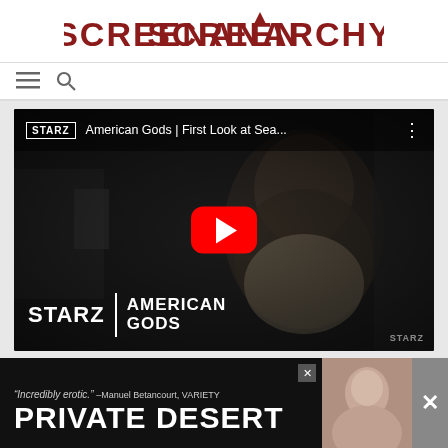SCREENANARCHY
[Figure (screenshot): Navigation bar with hamburger menu icon and search icon]
[Figure (screenshot): YouTube video embed showing American Gods | First Look at Sea... by STARZ with a red play button overlay and STARZ | AMERICAN GODS branding at the bottom left]
[Figure (screenshot): Advertisement banner: 'Incredibly erotic.' -Manuel Betancourt, VARIETY | PRIVATE DESERT with a photo of a person on the right side and close buttons]